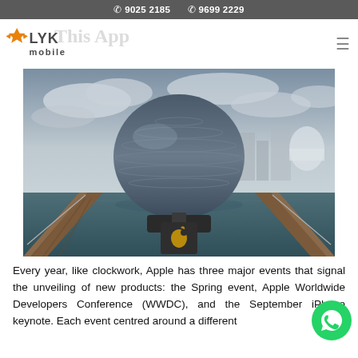☎ 9025 2185   ☎ 9699 2229
[Figure (logo): LYK Mobile logo with orange bird/star icon and dark text reading 'LYK mobile']
[Figure (photo): Apple Store Marina Bay Sands Singapore - a large spherical glass dome structure floating on water, with a wooden walkway leading to it and an Apple logo sign in the foreground. Cloudy sky background with city buildings.]
Every year, like clockwork, Apple has three major events that signal the unveiling of new products: the Spring event, Apple Worldwide Developers Conference (WWDC), and the September iPhone keynote. Each event centred around a different